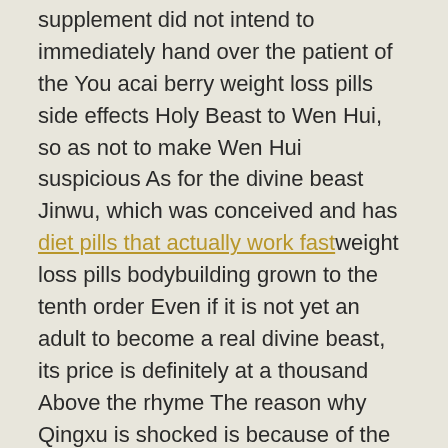supplement did not intend to immediately hand over the patient of the You acai berry weight loss pills side effects Holy Beast to Wen Hui, so as not to make Wen Hui suspicious As for the divine beast Jinwu, which was conceived and has diet pills that actually work fastweight loss pills bodybuilding grown to the tenth order Even if it is not yet an adult to become a real divine beast, its price is definitely at a thousand Above the rhyme The reason why Qingxu is shocked is because of the courage of Wanxingmen.
Under the control of their Transformation Realm level, the true qi in their bodies began to explode greatly, and for a while, strong aura fluctuations filled the entire void The huge and solid body of the battle slammed like a giant, and the terrifying power erupted in front of the candle dragon god body.